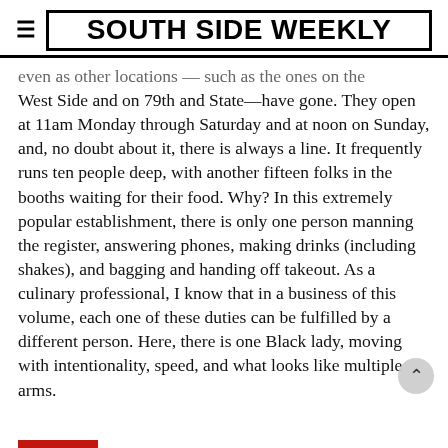SOUTH SIDE WEEKLY
even as other locations — such as the ones on the West Side and on 79th and State—have gone. They open at 11am Monday through Saturday and at noon on Sunday, and, no doubt about it, there is always a line. It frequently runs ten people deep, with another fifteen folks in the booths waiting for their food. Why? In this extremely popular establishment, there is only one person manning the register, answering phones, making drinks (including shakes), and bagging and handing off takeout. As a culinary professional, I know that in a business of this volume, each one of these duties can be fulfilled by a different person. Here, there is one Black lady, moving with intentionality, speed, and what looks like multiple arms.